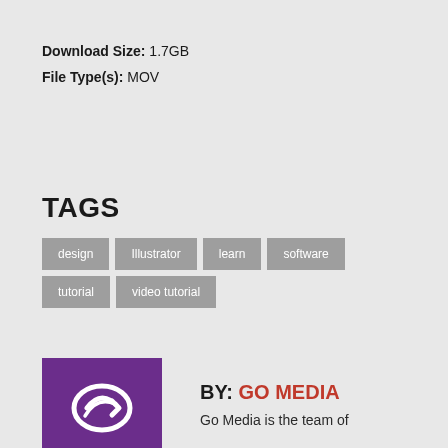Download Size: 1.7GB
File Type(s): MOV
TAGS
design
Illustrator
learn
software
tutorial
video tutorial
BY: GO MEDIA
Go Media is the team of
[Figure (logo): Go Media logo — white arrow/swoosh icon on purple background]